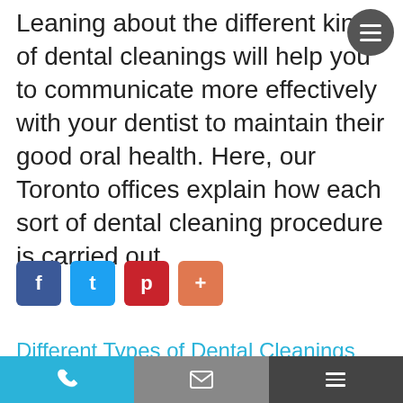Leaning about the different kinds of dental cleanings will help you to communicate more effectively with your dentist to maintain their good oral health. Here, our Toronto offices explain how each sort of dental cleaning procedure is carried out.
[Figure (infographic): Social media share buttons: Facebook (blue), Twitter (light blue), Pinterest (red), Share/Plus (orange)]
Different Types of Dental Cleanings
Two times a year, you should visit your dentist for a teeth cleaning in order to help maintain your teeth and to make sure that no major oral health concerns have arisen in your...
[Figure (infographic): Bottom navigation bar with phone icon (blue), email/envelope icon (grey), and hamburger menu icon (dark grey)]